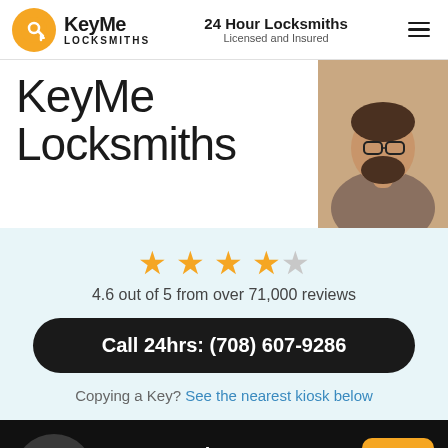KeyMe Locksmiths | 24 Hour Locksmiths Licensed and Insured
KeyMe Locksmiths
[Figure (photo): Photo of a man with glasses and beard working at a desk]
4.6 out of 5 from over 71,000 reviews
Call 24hrs: (708) 607-9286
Copying a Key? See the nearest kiosk below
Emergencies
Average arrival time is 29 minutes
Call now: (708) 607-9286
[Figure (illustration): Emergency ambulance/locksmith van icon in dark circle]
[Figure (illustration): Yellow chat button with speech bubble icon]